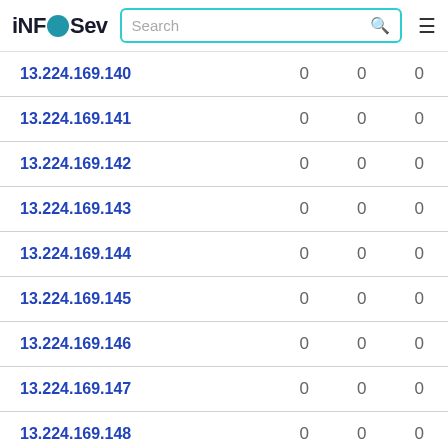iNFOSev
| IP | Col1 | Col2 | Col3 |
| --- | --- | --- | --- |
| 13.224.169.140 | 0 | 0 | 0 |
| 13.224.169.141 | 0 | 0 | 0 |
| 13.224.169.142 | 0 | 0 | 0 |
| 13.224.169.143 | 0 | 0 | 0 |
| 13.224.169.144 | 0 | 0 | 0 |
| 13.224.169.145 | 0 | 0 | 0 |
| 13.224.169.146 | 0 | 0 | 0 |
| 13.224.169.147 | 0 | 0 | 0 |
| 13.224.169.148 | 0 | 0 | 0 |
| 13.224.169.149 | 0 | 0 | 0 |